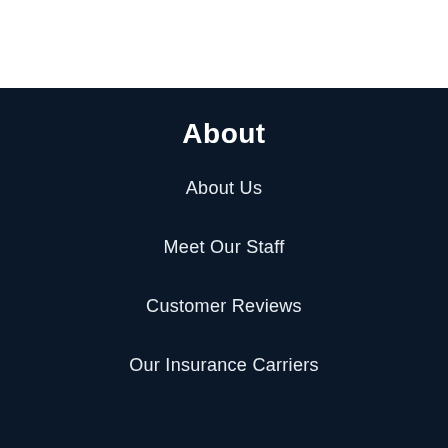About
About Us
Meet Our Staff
Customer Reviews
Our Insurance Carriers